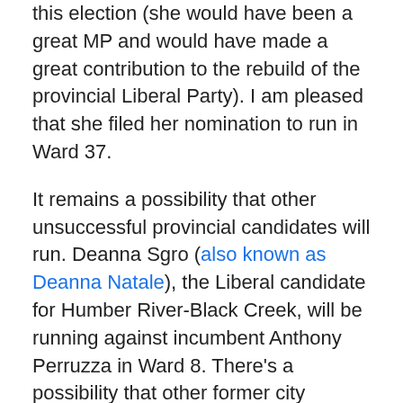this election (she would have been a great MP and would have made a great contribution to the rebuild of the provincial Liberal Party). I am pleased that she filed her nomination to run in Ward 37.
It remains a possibility that other unsuccessful provincial candidates will run. Deanna Sgro (also known as Deanna Natale), the Liberal candidate for Humber River-Black Creek, will be running against incumbent Anthony Perruzza in Ward 8. There's a possibility that other former city councillors that ran in the provincial election, including Chin Lee and Peter Milczyn, could still run in the municipal election.
There is still the possibility that former morning television host Ann Rohmer will run for council, likely against John Matlow in Ward 26. It was there that Mayor John Tory launched his re-election campaign. Matlow has been an